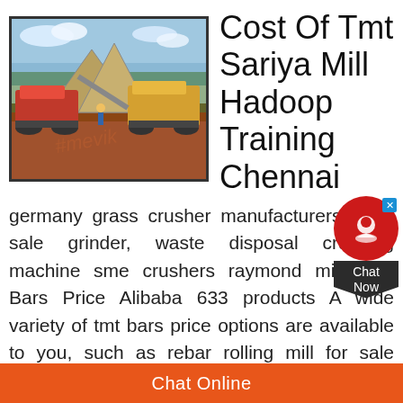[Figure (photo): Industrial mining/crushing machinery on a red dirt worksite with blue sky background. Watermark text visible.]
Cost Of Tmt Sariya Mill Hadoop Training Chennai
germany grass crusher manufacturers; mills sale grinder, waste disposal crushing machine sme crushers raymond mill; Tmt Bars Price Alibaba 633 products A wide variety of tmt bars price options are available to you, such as rebar rolling mill for sale construction material companies 12mm steel iron View Details Send Enquiry TMT Bars (Sariya) Project Project Report Manufacturing Full detailCoal Beneficiation Plant Coal Crusher Coal Mill Coal Machinery is a specialist manufacturer of Coal beneficiation plant it
Chat Online